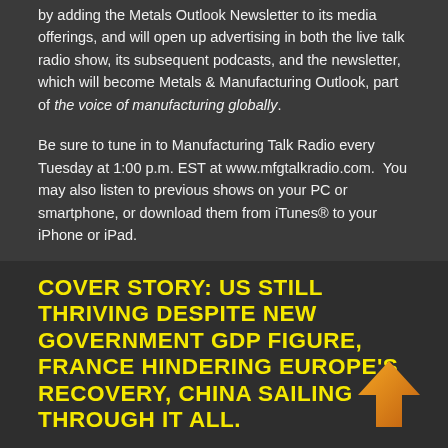by adding the Metals Outlook Newsletter to its media offerings, and will open up advertising in both the live talk radio show, its subsequent podcasts, and the newsletter, which will become Metals & Manufacturing Outlook, part of the voice of manufacturing globally.
Be sure to tune in to Manufacturing Talk Radio every Tuesday at 1:00 p.m. EST at www.mfgtalkradio.com.  You may also listen to previous shows on your PC or smartphone, or download them from iTunes® to your iPhone or iPad.
Lewis A Weiss
Publisher
Comments to Publisher: publisher@steelforge.com
COVER STORY: US STILL THRIVING DESPITE NEW GOVERNMENT GDP FIGURE, FRANCE HINDERING EUROPE'S RECOVERY, CHINA SAILING THROUGH IT ALL.